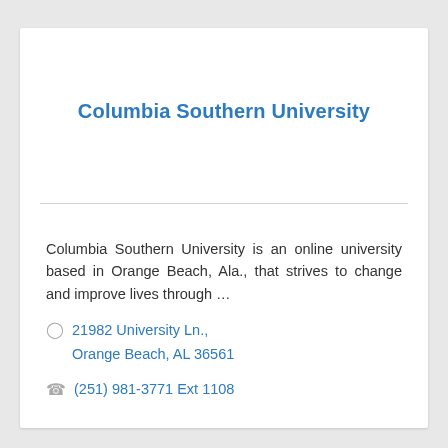Columbia Southern University
Columbia Southern University is an online university based in Orange Beach, Ala., that strives to change and improve lives through …
21982 University Ln., Orange Beach, AL 36561
(251) 981-3771 Ext 1108